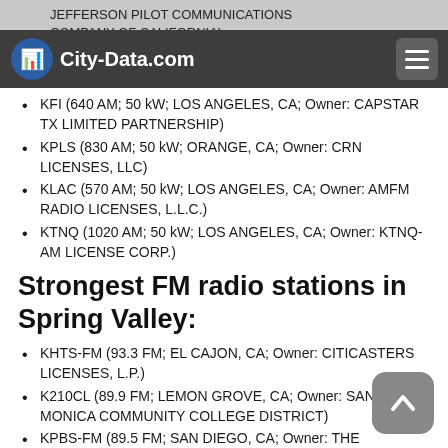City-Data.com
KFI (640 AM; 50 kW; LOS ANGELES, CA; Owner: CAPSTAR TX LIMITED PARTNERSHIP)
KPLS (830 AM; 50 kW; ORANGE, CA; Owner: CRN LICENSES, LLC)
KLAC (570 AM; 50 kW; LOS ANGELES, CA; Owner: AMFM RADIO LICENSES, L.L.C.)
KTNQ (1020 AM; 50 kW; LOS ANGELES, CA; Owner: KTNQ-AM LICENSE CORP.)
Strongest FM radio stations in Spring Valley:
KHTS-FM (93.3 FM; EL CAJON, CA; Owner: CITICASTERS LICENSES, L.P.)
K210CL (89.9 FM; LEMON GROVE, CA; Owner: SANTA MONICA COMMUNITY COLLEGE DISTRICT)
KPBS-FM (89.5 FM; SAN DIEGO, CA; Owner: THE